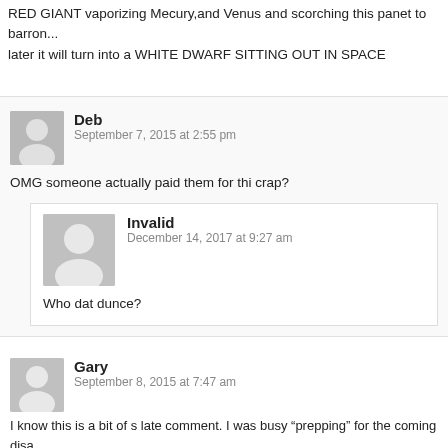RED GIANT vaporizing Mecury,and Venus and scorching this panet to barren... later it will turn into a WHITE DWARF SITTING OUT IN SPACE
Deb
September 7, 2015 at 2:55 pm
OMG someone actually paid them for thi crap?
Invalid
December 14, 2017 at 9:27 am
Who dat dunce?
Gary
September 8, 2015 at 7:47 am
I know this is a bit of s late comment. I was busy “prepping” for the coming disa I enjoyed reading your article and completely understand your perspective. I ch research you’ve done and hope you can get published in some of the finer and